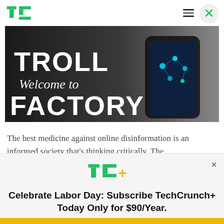TechCrunch header with TC logo, hamburger menu, and close button
[Figure (photo): Dark promotional image showing text 'TROLL Welcome to FACTORY' overlaid on a hand holding a smartphone with glowing interface]
The best medicine against online disinformation is an informed society that's thinking critically. The
[Figure (infographic): TechCrunch+ subscription offer overlay with TC+ logo, 'Celebrate Labor Day: Subscribe TechCrunch+ Today Only for $90/Year.' headline and 'GET OFFER NOW' button]